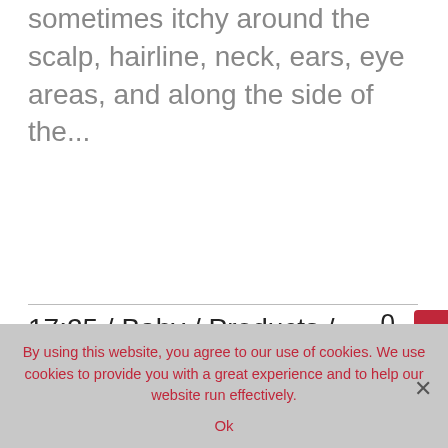sometimes itchy around the scalp, hairline, neck, ears, eye areas, and along the side of the...
17:25 / Baby / Products / Skin Care / Wellbeing   0 Likes
By using this website, you agree to our use of cookies. We use cookies to provide you with a great experience and to help our website run effectively.
Ok